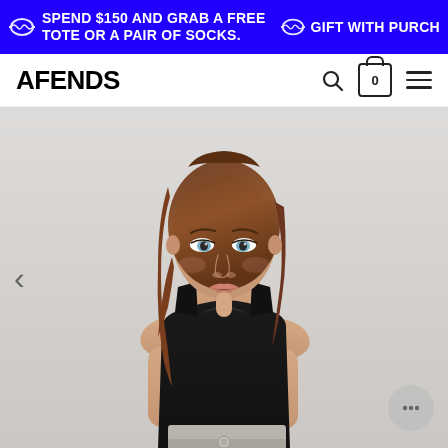SPEND $150 AND GRAB A FREE TOTE OR A PAIR OF SOCKS. GIFT WITH PURCHASE
AFENDS
[Figure (photo): Female model wearing a black ribbed sleeveless crop top and light grey jeans, photographed against a light grey background. The model has brown hair and is looking slightly to the left. A left navigation arrow is visible on the left side, and a chat bubble icon is visible in the bottom right.]